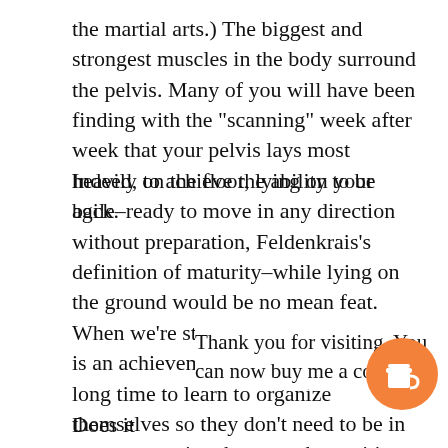the martial arts.) The biggest and strongest muscles in the body surround the pelvis. Many of you will have been finding with the "scanning" week after week that your pelvis lays most heavily on the floor, lying on your back.
Indeed, to achieve the ability to be agile–ready to move in any direction without preparation, Feldenkrais's definition of maturity–while lying on the ground would be no mean feat. When we're standing up, standing still is an achievement (it takes children a long time to learn to organize themselves so they don't need to be in constant motion, because the position of standing is one of high potential–it takes virtually nothing to tip us and put us in [obscured] t when we're lyi[ng] [obscured] o is work.
Thank you for visiting. You can now buy me a coffee!
Does it r[emain] whe[n] us to be as agile and available to act from lying as from